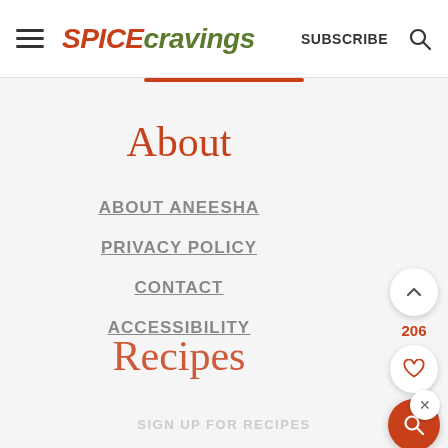SPICE cravings | SUBSCRIBE | Search
About
ABOUT ANEESHA
PRIVACY POLICY
CONTACT
ACCESSIBILITY
Recipes
SIGN UP FOR RECIPES